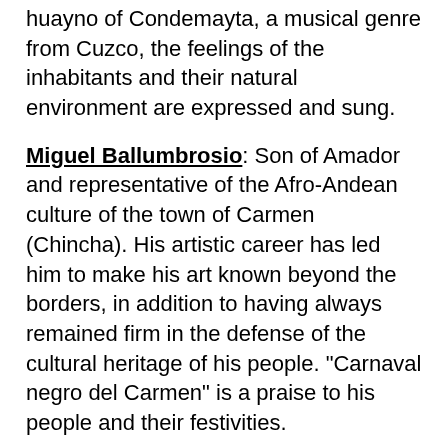huayno of Condemayta, a musical genre from Cuzco, the feelings of the inhabitants and their natural environment are expressed and sung.
Miguel Ballumbrosio: Son of Amador and representative of the Afro-Andean culture of the town of Carmen (Chincha). His artistic career has led him to make his art known beyond the borders, in addition to having always remained firm in the defense of the cultural heritage of his people. "Carnaval negro del Carmen" is a praise to his people and their festivities.
Los Pihuichos de la selva: A group active in the 1970s, led by Andrés